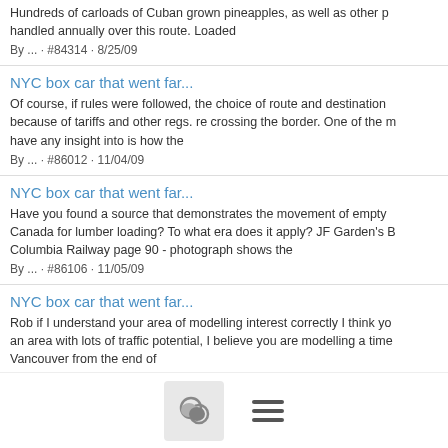Hundreds of carloads of Cuban grown pineapples, as well as other p handled annually over this route. Loaded
By ... · #84314 · 8/25/09
NYC box car that went far...
Of course, if rules were followed, the choice of route and destination because of tariffs and other regs. re crossing the border. One of the m have any insight into is how the
By ... · #86012 · 11/04/09
NYC box car that went far...
Have you found a source that demonstrates the movement of empty Canada for lumber loading? To what era does it apply? JF Garden's Columbia Railway page 90 - photograph shows the
By ... · #86106 · 11/05/09
NYC box car that went far...
Rob if I understand your area of modelling interest correctly I think yo an area with lots of traffic potential, I believe you are modelling a time Vancouver from the end of